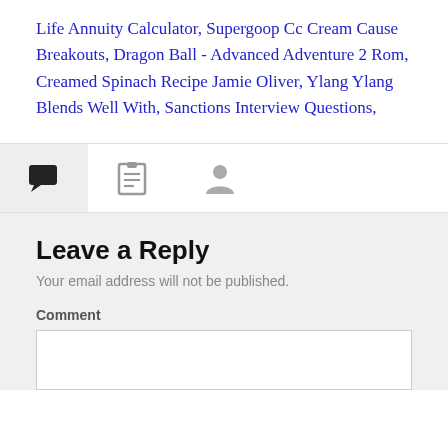Life Annuity Calculator, Supergoop Cc Cream Cause Breakouts, Dragon Ball - Advanced Adventure 2 Rom, Creamed Spinach Recipe Jamie Oliver, Ylang Ylang Blends Well With, Sanctions Interview Questions,
[Figure (other): Tab bar with three icons: a comment/speech bubble icon (active, on highlighted background), a list/clipboard icon, and a person/user icon]
Leave a Reply
Your email address will not be published.
Comment